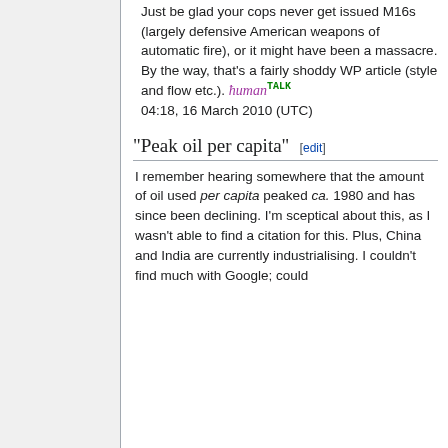Just be glad your cops never get issued M16s (largely defensive American weapons of automatic fire), or it might have been a massacre. By the way, that's a fairly shoddy WP article (style and flow etc.). human TALK 04:18, 16 March 2010 (UTC)
"Peak oil per capita" [edit]
I remember hearing somewhere that the amount of oil used per capita peaked ca. 1980 and has since been declining. I'm sceptical about this, as I wasn't able to find a citation for this. Plus, China and India are currently industrialising. I couldn't find much with Google; could